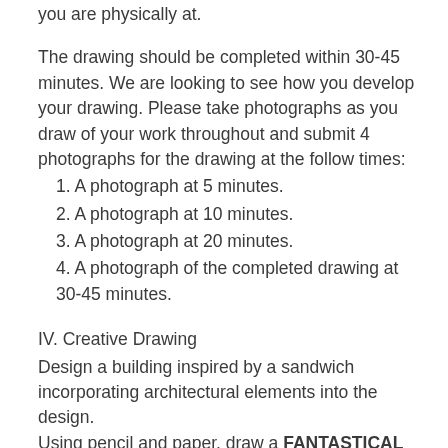you are physically at.
The drawing should be completed within 30-45 minutes. We are looking to see how you develop your drawing. Please take photographs as you draw of your work throughout and submit 4 photographs for the drawing at the follow times:
1. A photograph at 5 minutes.
2. A photograph at 10 minutes.
3. A photograph at 20 minutes.
4. A photograph of the completed drawing at 30-45 minutes.
IV. Creative Drawing
Design a building inspired by a sandwich incorporating architectural elements into the design.
Using pencil and paper, draw a FANTASTICAL SANDWICH BUILDING